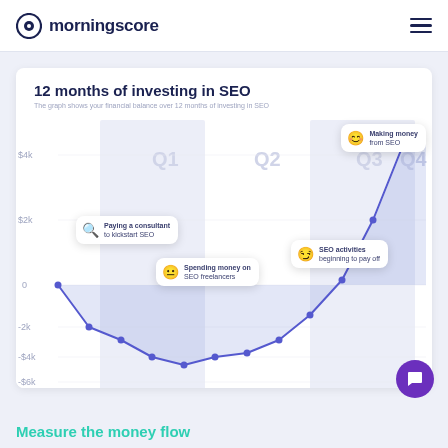[Figure (logo): Morningscore logo with circular target icon and text 'morningscore' in dark navy]
[Figure (line-chart): Line chart showing financial balance over 12 months of SEO investment. Starts at 0, dips to about -$4.5k at May, then rises to about $4.5k in December. Four annotations: 'Paying a consultant to kickstart SEO' (Feb area), 'Spending money on SEO freelancers' (May area), 'SEO activities beginning to pay off' (Aug–Sep area), 'Making money from SEO' (Dec area). Quarter labels Q1–Q4 shown in chart background.]
Measure the money flow